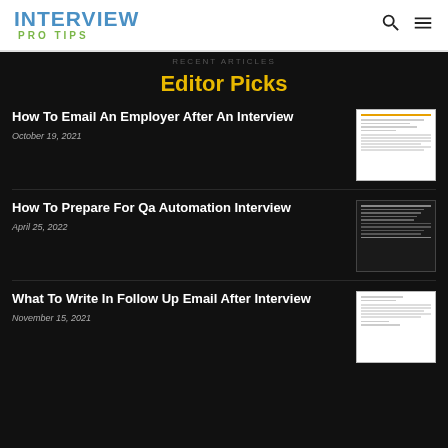INTERVIEW PRO TIPS
Editor Picks
How To Email An Employer After An Interview
October 19, 2021
[Figure (screenshot): Thumbnail image of an email letter document on white background]
How To Prepare For Qa Automation Interview
April 25, 2022
[Figure (screenshot): Thumbnail image of a QA automation interview questions document on dark background]
What To Write In Follow Up Email After Interview
November 15, 2021
[Figure (screenshot): Thumbnail image of a follow up email letter document on white background]